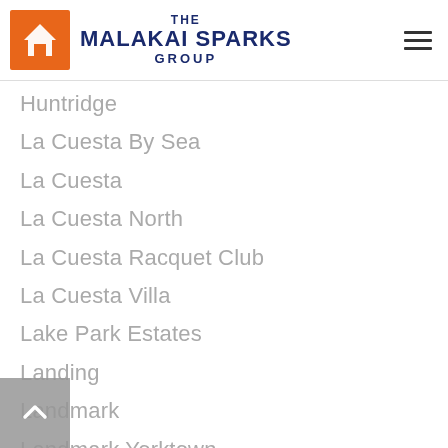The Malakai Sparks Group
Huntridge
La Cuesta By Sea
La Cuesta
La Cuesta North
La Cuesta Racquet Club
La Cuesta Villa
Lake Park Estates
Landing
Landmark
Landmark Yorktown
Las Fuentes
Lighthouse
Lyon Shores
Mainlaind Community